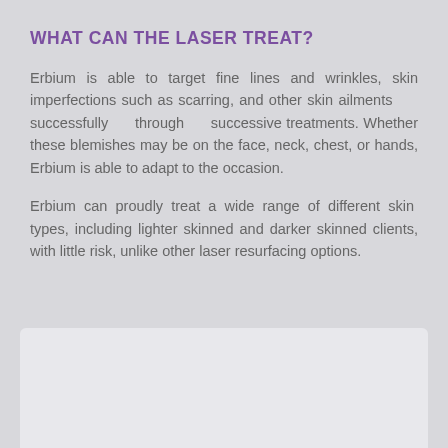WHAT CAN THE LASER TREAT?
Erbium is able to target fine lines and wrinkles, skin imperfections such as scarring, and other skin ailments successfully through successive treatments. Whether these blemishes may be on the face, neck, chest, or hands, Erbium is able to adapt to the occasion.
Erbium can proudly treat a wide range of different skin types, including lighter skinned and darker skinned clients, with little risk, unlike other laser resurfacing options.
[Figure (other): White/light grey rectangular box at the bottom of the page, likely a placeholder for an image.]